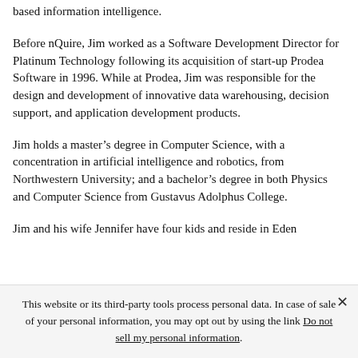based information intelligence.
Before nQuire, Jim worked as a Software Development Director for Platinum Technology following its acquisition of start-up Prodea Software in 1996. While at Prodea, Jim was responsible for the design and development of innovative data warehousing, decision support, and application development products.
Jim holds a master’s degree in Computer Science, with a concentration in artificial intelligence and robotics, from Northwestern University; and a bachelor’s degree in both Physics and Computer Science from Gustavus Adolphus College.
Jim and his wife Jennifer have four kids and reside in Eden
This website or its third-party tools process personal data. In case of sale of your personal information, you may opt out by using the link Do not sell my personal information.